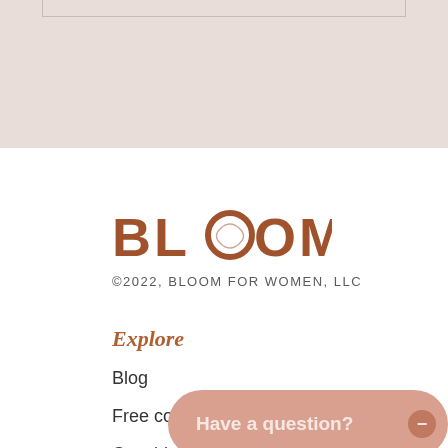[Figure (screenshot): Top beige/taupe banner section with a partial outlined rectangle visible at top]
[Figure (logo): BLOOM logo in brown with a circular emblem replacing one of the O letters]
©2022, BLOOM FOR WOMEN, LLC
Explore
Blog
Free courses
Coaching
Have a question?